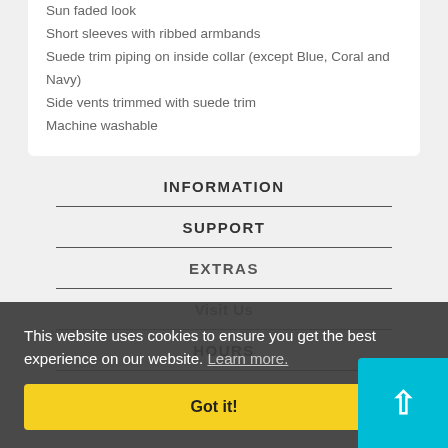Sun faded look
Short sleeves with ribbed armbands
Suede trim piping on inside collar (except Blue, Coral and Navy)
Side vents trimmed with suede trim
Machine washable
INFORMATION
SUPPORT
EXTRAS
Visit Us
HOURS
CONTACT
This website uses cookies to ensure you get the best experience on our website. Learn more.
Got it!